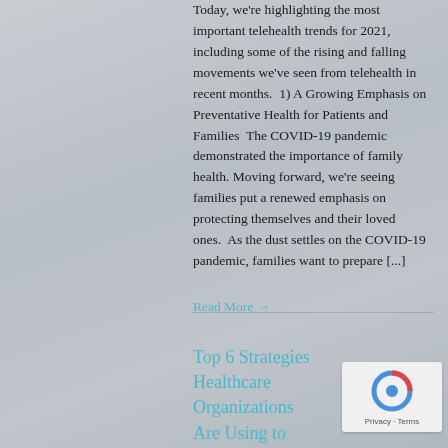Today, we're highlighting the most important telehealth trends for 2021, including some of the rising and falling movements we've seen from telehealth in recent months.  1) A Growing Emphasis on Preventative Health for Patients and Families  The COVID-19 pandemic demonstrated the importance of family health. Moving forward, we're seeing families put a renewed emphasis on protecting themselves and their loved ones.  As the dust settles on the COVID-19 pandemic, families want to prepare [...]
Read More →
Top 6 Strategies Healthcare Organizations Are Using to Maximize Revenue in 2021